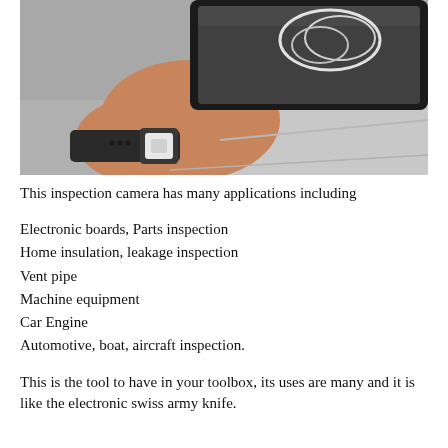[Figure (photo): A hand holding a smartphone displaying an inspection camera feed, person wearing a black digital watch with a white buckle, grey background surface visible.]
This inspection camera has many applications including
Electronic boards, Parts inspection
Home insulation, leakage inspection
Vent pipe
Machine equipment
Car Engine
Automotive, boat, aircraft inspection.
This is the tool to have in your toolbox, its uses are many and it is like the electronic swiss army knife.